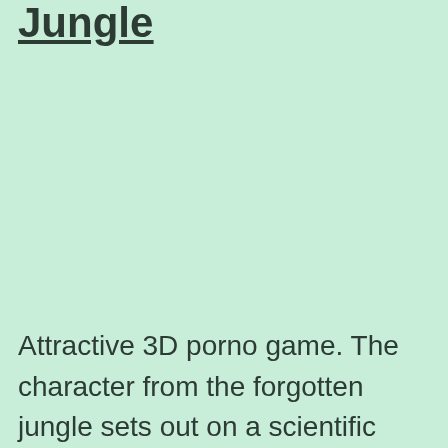Jungle
Attractive 3D porno game. The character from the forgotten jungle sets out on a scientific